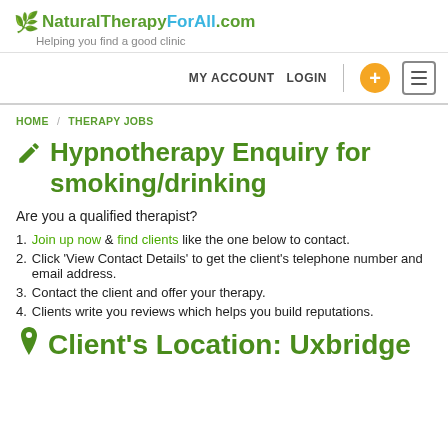NaturalTherapyForAll.com — Helping you find a good clinic
MY ACCOUNT  LOGIN
HOME / THERAPY JOBS
Hypnotherapy Enquiry for smoking/drinking
Are you a qualified therapist?
1. Join up now & find clients like the one below to contact.
2. Click 'View Contact Details' to get the client's telephone number and email address.
3. Contact the client and offer your therapy.
4. Clients write you reviews which helps you build reputations.
Client's Location: Uxbridge